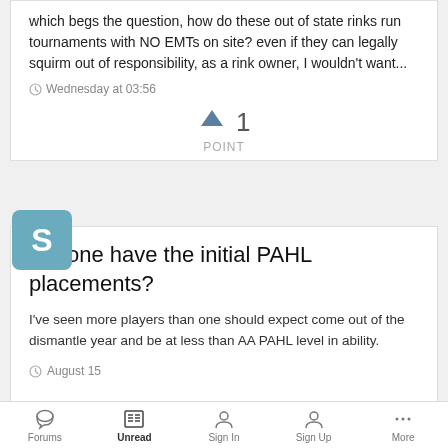which begs the question, how do these out of state rinks run tournaments with NO EMTs on site? even if they can legally squirm out of responsibility, as a rink owner, I wouldn't want...
Wednesday at 03:56
1 POINT
Anyone have the initial PAHL placements?
I've seen more players than one should expect come out of the dismantle year and be at less than AA PAHL level in ability.
August 15
Forums | Unread | Sign In | Sign Up | More